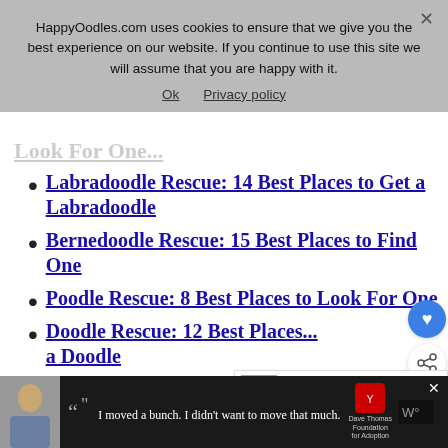HappyOodles.com uses cookies to ensure that we give you the best experience on our website. If you continue to use this site we will assume that you are happy with it. Ok Privacy policy
Labradoodle Rescue: 14 Best Places to Get a Labradoodle
Bernedoodle Rescue: 15 Best Places to Find One
Poodle Rescue: 8 Best Places to Look For One
Doodle Rescue: 12 Best Places ... a Doodle
[Figure (screenshot): Advertisement banner at bottom: dark background with a young man image, quote 'I moved a bunch. I didn't want to move that much.' Dave Thomas Foundation for Adoption logo, and Wondery logo on the right]
WHAT'S NEXT → National Animal Shelt...